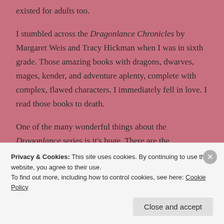existed for adults too.
I stumbled across the Dragonlance Chronicles by Margaret Weis and Tracy Hickman when I was in sixth grade. Those amazing books with dragons, dwarves, mages, kender, and adventure aplenty, complete with complex, flawed characters. I immediately fell in love. I read those books to death.
One of the many wonderful things about the Dragonlance series is it's huge. There are the
Privacy & Cookies: This site uses cookies. By continuing to use this website, you agree to their use.
To find out more, including how to control cookies, see here: Cookie Policy